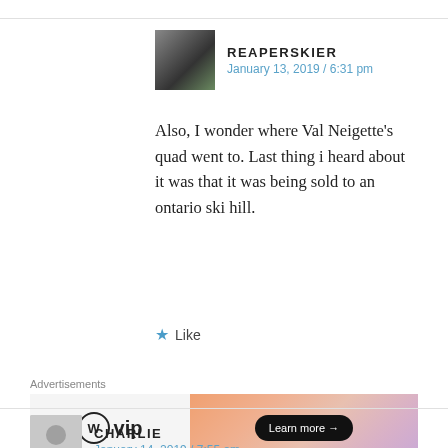REAPERSKIER
January 13, 2019 / 6:31 pm
Also, I wonder where Val Neigette’s quad went to. Last thing i heard about it was that it was being sold to an ontario ski hill.
★ Like
Advertisements
[Figure (screenshot): WordPress VIP advertisement banner with gradient orange-pink background and Learn more button]
CHARLIE
January 14, 2019 / 7:55 am